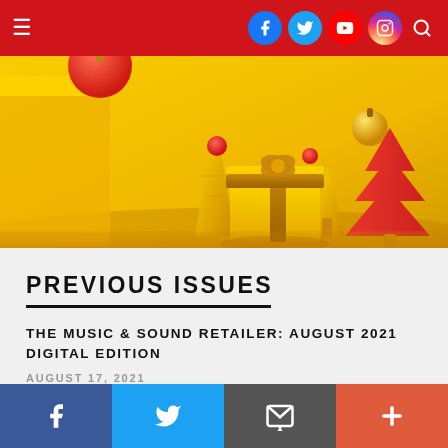Navigation bar with hamburger menu and social icons (Facebook, Twitter, YouTube, Instagram) and search
[Figure (illustration): 3D rendered Christmas/holiday scene with yellow background showing a gift box with gold ribbon, yellow cone-shaped Christmas trees, red layered Christmas trees, and decorative golden and red ornament balls]
PREVIOUS ISSUES
THE MUSIC & SOUND RETAILER: AUGUST 2021 DIGITAL EDITION
AUGUST 17, 2021
Share bar: Facebook, Twitter, Email, More